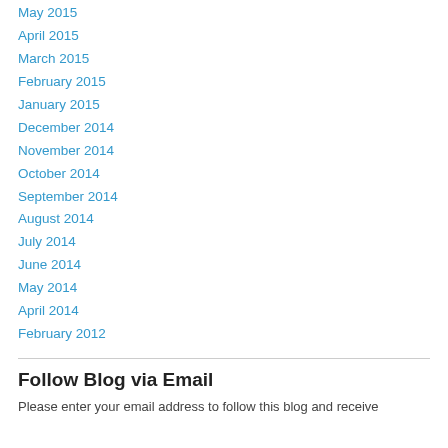May 2015
April 2015
March 2015
February 2015
January 2015
December 2014
November 2014
October 2014
September 2014
August 2014
July 2014
June 2014
May 2014
April 2014
February 2012
Follow Blog via Email
Please enter your email address to follow this blog and receive